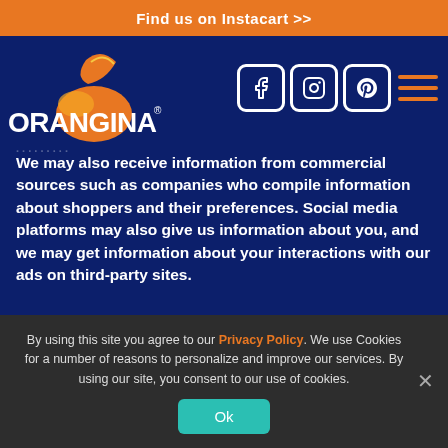Find us on Instacart >>
[Figure (logo): Orangina logo with orange fruit graphic on dark blue background]
[Figure (infographic): Social media icons: Facebook, Instagram, Pinterest, and hamburger menu in orange lines]
We may also receive information from commercial sources such as companies who compile information about shoppers and their preferences. Social media platforms may also give us information about you, and we may get information about your interactions with our ads on third-party sites.
Information You Provide to Us
The information we collect on or through our website may
By using this site you agree to our Privacy Policy. We use Cookies for a number of reasons to personalize and improve our services. By using our site, you consent to our use of cookies.